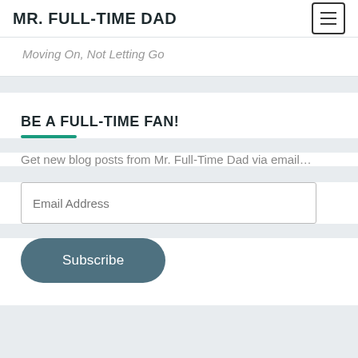MR. FULL-TIME DAD
Moving On, Not Letting Go
BE A FULL-TIME FAN!
Get new blog posts from Mr. Full-Time Dad via email…
Email Address
Subscribe